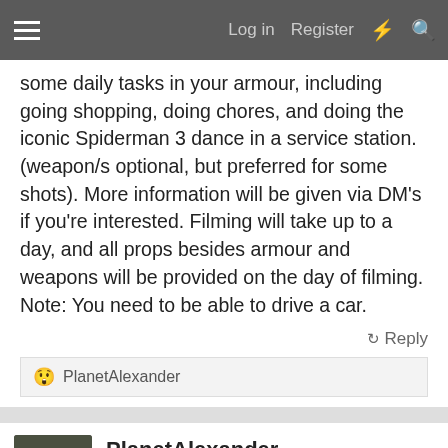Log in  Register
some daily tasks in your armour, including going shopping, doing chores, and doing the iconic Spiderman 3 dance in a service station. (weapon/s optional, but preferred for some shots). More information will be given via DM's if you're interested. Filming will take up to a day, and all props besides armour and weapons will be provided on the day of filming. Note: You need to be able to drive a car.
Reply
😲 PlanetAlexander
[Figure (photo): Avatar photo of PlanetAlexander showing a soldier/trooper in dark armour]
PlanetAlexander
RMO 🦅 Australian Regiment  405th Regiment Officer
Apr 3, 2022  #2
I happen to know a happy duo of troopers who may be happy to help!